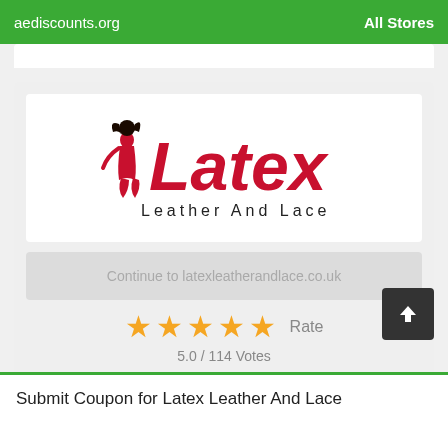aediscounts.org   All Stores
[Figure (logo): Latex Leather And Lace logo — red cursive 'Latex' text with stylized woman figure, subtitle 'Leather And Lace' in black]
Continue to latexleatherandlace.co.uk
★★★★★ Rate
5.0 / 114 Votes
Submit Coupon for Latex Leather And Lace